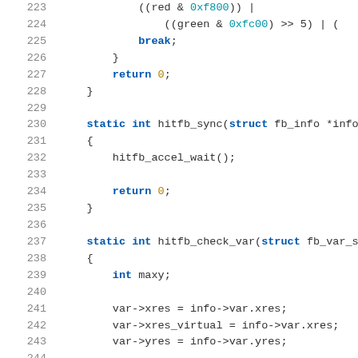Source code listing, lines 223-244, C programming language
223: ((red & 0xf800)) |
224: ((green & 0xfc00) >> 5) | (
225: break;
226: }
227: return 0;
228: }
229: (empty)
230: static int hitfb_sync(struct fb_info *info)
231: {
232: hitfb_accel_wait();
233: (empty)
234: return 0;
235: }
236: (empty)
237: static int hitfb_check_var(struct fb_var_screen
238: {
239: int maxy;
240: (empty)
241: var->xres = info->var.xres;
242: var->xres_virtual = info->var.xres;
243: var->yres = info->var.yres;
244: (partial)